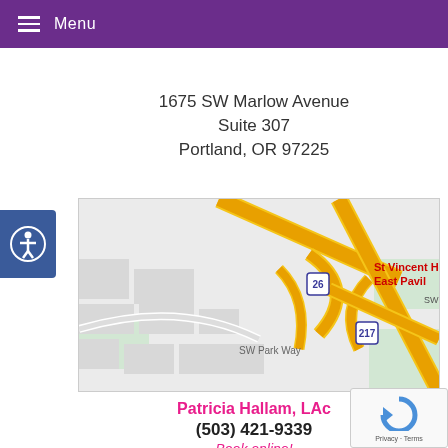Menu
1675 SW Marlow Avenue
Suite 307
Portland, OR 97225
[Figure (map): Google Maps screenshot showing the area near St Vincent Hospital East Pavilion in Portland, OR, with highway 26 and 217 visible, and SW Park Way labeled.]
Patricia Hallam, LAc
(503) 421-9339
Book online!
Daivati Bharadvaj, ND
(503) 484-8647